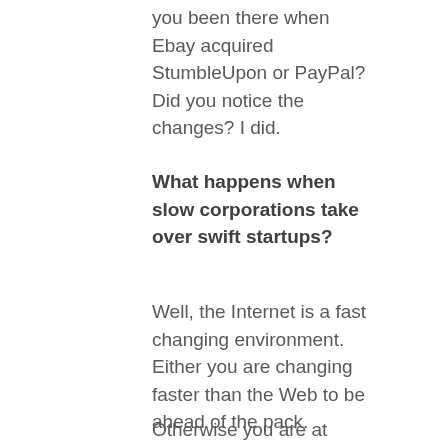you been there when Ebay acquired StumbleUpon or PayPal? Did you notice the changes? I did.
What happens when slow corporations take over swift startups?
Well, the Internet is a fast changing environment. Either you are changing faster than the Web to be ahead of the pack.
Otherwise you are at least quick